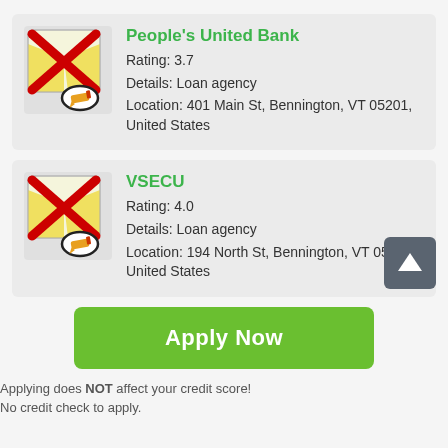[Figure (infographic): Listing card for People's United Bank with a map icon crossed out in red, showing rating, details, and location.]
People's United Bank
Rating: 3.7
Details: Loan agency
Location: 401 Main St, Bennington, VT 05201, United States
[Figure (infographic): Listing card for VSECU with a map icon crossed out in red, showing rating, details, and location.]
VSECU
Rating: 4.0
Details: Loan agency
Location: 194 North St, Bennington, VT 05201, United States
Apply Now
Applying does NOT affect your credit score! No credit check to apply.